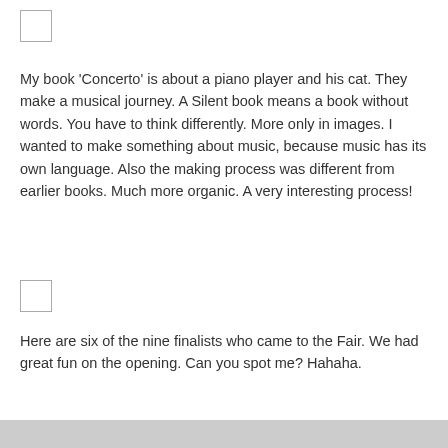[Figure (photo): Small image placeholder icon (top left area)]
My book 'Concerto' is about a piano player and his cat. They make a musical journey. A Silent book means a book without words. You have to think differently. More only in images. I wanted to make something about music, because music has its own language. Also the making process was different from earlier books. Much more organic. A very interesting process!
[Figure (photo): Small image placeholder icon (middle left area)]
Here are six of the nine finalists who came to the Fair. We had great fun on the opening. Can you spot me? Hahaha.
[Figure (photo): Image strip at the bottom of the page]